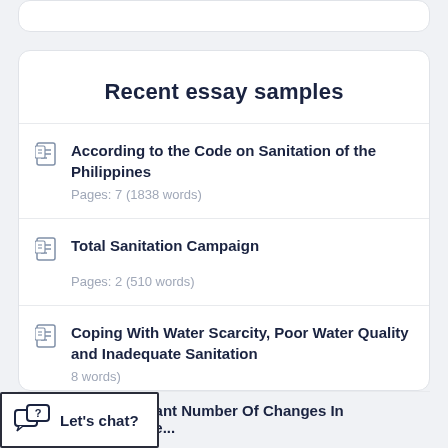Recent essay samples
According to the Code on Sanitation of the Philippines
Pages: 7 (1838 words)
Total Sanitation Campaign
Pages: 2 (510 words)
Coping With Water Scarcity, Poor Water Quality and Inadequate Sanitation
Pages: ...8 words)
A Significant Number Of Changes In Healthcare...